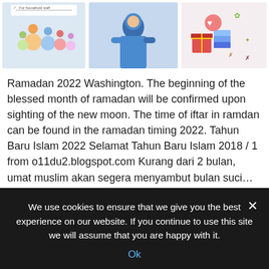[Figure (illustration): Three illustration panels: first shows cartoon family/group with checklist, second shows person in blue robe/abaya, third shows gift/celebration items with clothing]
Ramadan 2022 Washington. The beginning of the blessed month of ramadan will be confirmed upon sighting of the new moon. The time of iftar in ramdan can be found in the ramadan timing 2022. Tahun Baru Islam 2022 Selamat Tahun Baru Islam 2018 / 1 from o11du2.blogspot.com Kurang dari 2 bulan, umat muslim akan segera menyambut bulan suci… Read More »
Nachrichten
2022
ramadan
washington
We use cookies to ensure that we give you the best experience on our website. If you continue to use this site we will assume that you are happy with it.
Ok